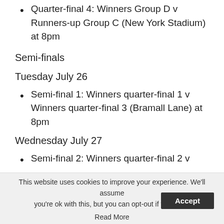Quarter-final 4: Winners Group D v Runners-up Group C (New York Stadium) at 8pm
Semi-finals
Tuesday July 26
Semi-final 1: Winners quarter-final 1 v Winners quarter-final 3 (Bramall Lane) at 8pm
Wednesday July 27
Semi-final 2: Winners quarter-final 2 v Winners quarter-final 4 (Stadium At) at 8
This website uses cookies to improve your experience. We'll assume you're ok with this, but you can opt-out if you wish. Accept Read More